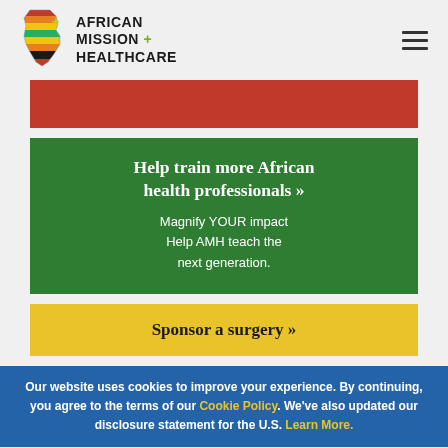[Figure (logo): African Mission Healthcare logo with Africa continent icon in red, yellow, green, black stripes and a yellow-green cross]
African Mission + Healthcare
[Figure (other): Red banner strip]
Help train more African health professionals »
Magnify YOUR impact
Help AMH teach the next generation.
Sponsor a surgery »
Our website uses cookies to improve your experience. By continuing, you agree to the terms of our Cookie Policy. We've also updated our disclosure statement for the U.S. Learn More.